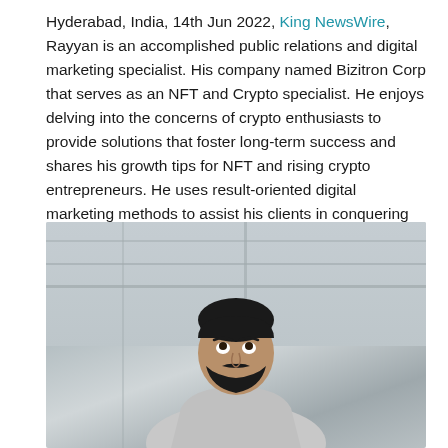Hyderabad, India, 14th Jun 2022, King NewsWire, Rayyan is an accomplished public relations and digital marketing specialist. His company named Bizitron Corp that serves as an NFT and Crypto specialist. He enjoys delving into the concerns of crypto enthusiasts to provide solutions that foster long-term success and shares his growth tips for NFT and rising crypto entrepreneurs. He uses result-oriented digital marketing methods to assist his clients in conquering the internet through blockchain technology using the crypto market.
[Figure (photo): Portrait photo of a young bearded man looking upward, standing in front of a glass building or window facade, wearing a light gray shirt. Photo is in muted/desaturated tones.]